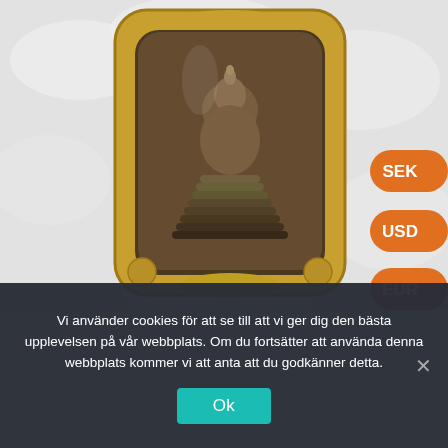[Figure (photo): A Thai Buddhist amulet (Phra Somdej style) in a gold-colored metal casing with ornate decorative border, displayed on a white fluffy cloth background. The amulet shows a seated Buddha figure with tiered lotus base. Three orange currency selector buttons (SEK, USD, EUR) are visible on the right side of the image.]
Vi använder cookies för att se till att vi ger dig den bästa upplevelsen på vår webbplats. Om du fortsätter att använda denna webbplats kommer vi att anta att du godkänner detta.
Ok